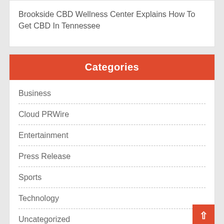Brookside CBD Wellness Center Explains How To Get CBD In Tennessee
Categories
Business
Cloud PRWire
Entertainment
Press Release
Sports
Technology
Uncategorized
World